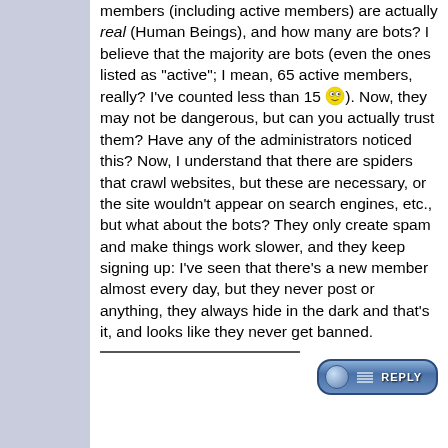members (including active members) are actually real (Human Beings), and how many are bots? I believe that the majority are bots (even the ones listed as "active"; I mean, 65 active members, really? I've counted less than 15 😲). Now, they may not be dangerous, but can you actually trust them? Have any of the administrators noticed this? Now, I understand that there are spiders that crawl websites, but these are necessary, or the site wouldn't appear on search engines, etc., but what about the bots? They only create spam and make things work slower, and they keep signing up: I've seen that there's a new member almost every day, but they never post or anything, they always hide in the dark and that's it, and looks like they never get banned.
[Figure (other): Reply button with blue ball icon and 'REPLY' text label]